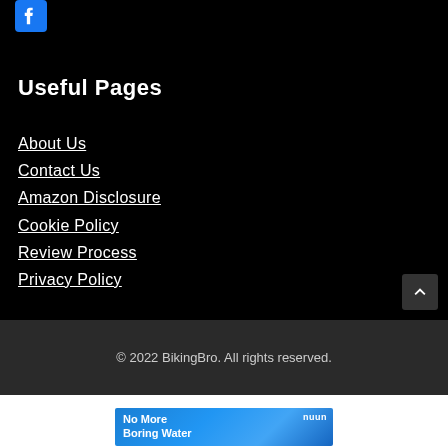[Figure (logo): Facebook logo icon - blue square with white 'f' letter]
Useful Pages
About Us
Contact Us
Amazon Disclosure
Cookie Policy
Review Process
Privacy Policy
© 2022 BikingBro. All rights reserved.
[Figure (photo): Advertisement banner for Nuun with text 'No More Boring Water' on blue background with product images]